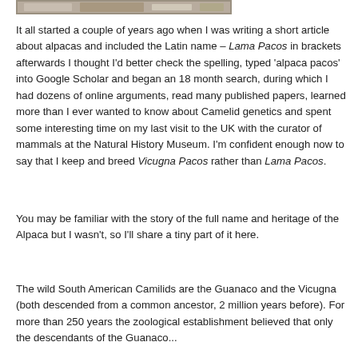[Figure (photo): Partial image strip at top of page, appears to be a cropped photo of alpacas or similar animals, mostly cut off]
It all started a couple of years ago when I was writing a short article about alpacas and included the Latin name – Lama Pacos in brackets afterwards I thought I'd better check the spelling, typed 'alpaca pacos' into Google Scholar and began an 18 month search, during which I had dozens of online arguments, read many published papers, learned more than I ever wanted to know about Camelid genetics and spent some interesting time on my last visit to the UK with the curator of mammals at the Natural History Museum. I'm confident enough now to say that I keep and breed Vicugna Pacos rather than Lama Pacos.
You may be familiar with the story of the full name and heritage of the Alpaca but I wasn't, so I'll share a tiny part of it here.
The wild South American Camilids are the Guanaco and the Vicugna (both descended from a common ancestor, 2 million years before). For more than 250 years the zoological establishment believed that only the descendants of the Guanaco...